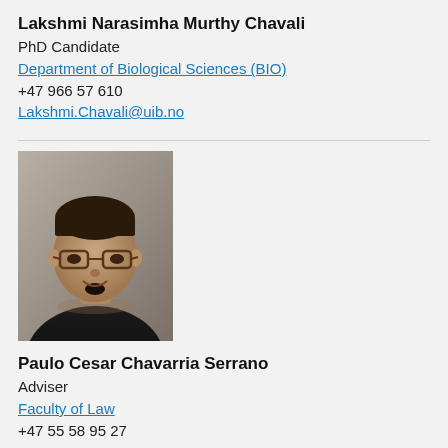Lakshmi Narasimha Murthy Chavali
PhD Candidate
Department of Biological Sciences (BIO)
+47 966 57 610
Lakshmi.Chavali@uib.no
[Figure (photo): Portrait photo of Paulo Cesar Chavarria Serrano, a man with glasses, short hair, and a goatee, wearing a black shirt, against a grey background.]
Paulo Cesar Chavarria Serrano
Adviser
Faculty of Law
+47 55 58 95 27